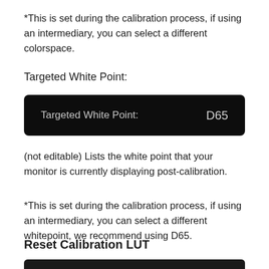*This is set during the calibration process, if using an intermediary, you can select a different colorspace.
Targeted White Point:
[Figure (screenshot): Dark UI widget showing 'Targeted White Point:' label on the left and 'D65' value on the right, on a black background with rounded corners.]
(not editable) Lists the white point that your monitor is currently displaying post-calibration.
*This is set during the calibration process, if using an intermediary, you can select a different whitepoint, we recommend using D65.
Reset Calibration LUT